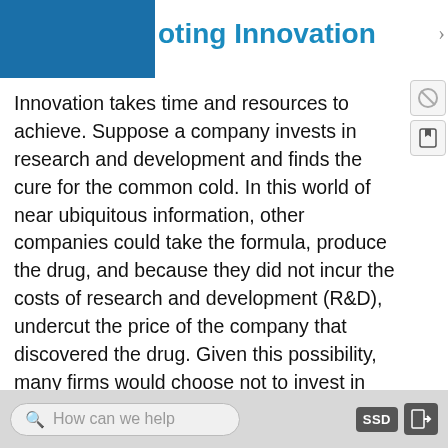Promoting Innovation
Innovation takes time and resources to achieve. Suppose a company invests in research and development and finds the cure for the common cold. In this world of near ubiquitous information, other companies could take the formula, produce the drug, and because they did not incur the costs of research and development (R&D), undercut the price of the company that discovered the drug. Given this possibility, many firms would choose not to invest in research and development, and as a result, the world would have less innovation. To prevent this from happening, the Constitution of the United States specifies in Article I, Section 8: “The Congress shall
How can we help